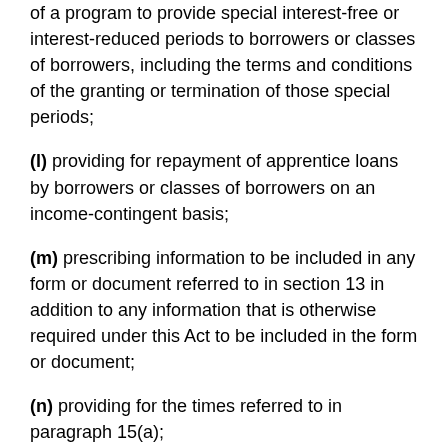of a program to provide special interest-free or interest-reduced periods to borrowers or classes of borrowers, including the terms and conditions of the granting or termination of those special periods;
(l) providing for repayment of apprentice loans by borrowers or classes of borrowers on an income-contingent basis;
(m) prescribing information to be included in any form or document referred to in section 13 in addition to any information that is otherwise required under this Act to be included in the form or document;
(n) providing for the times referred to in paragraph 15(a);
(o) providing for the form and manner in which information referred to in paragraph 15(b) is to be